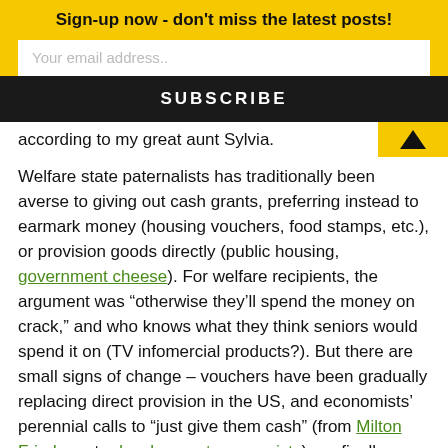Sign-up now - don't miss the latest posts!
Your email address..
SUBSCRIBE
according to my great aunt Sylvia.
Welfare state paternalists has traditionally been averse to giving out cash grants, preferring instead to earmark money (housing vouchers, food stamps, etc.), or provision goods directly (public housing, government cheese). For welfare recipients, the argument was “otherwise they’ll spend the money on crack,” and who knows what they think seniors would spend it on (TV infomercial products?). But there are small signs of change – vouchers have been gradually replacing direct provision in the US, and economists’ perennial calls to “just give them cash” (from Milton Friedman to development economists) are finally being heeded in countries from Brazil to the UK. If New York City would just get over its aversion to mailing checks and handicapped